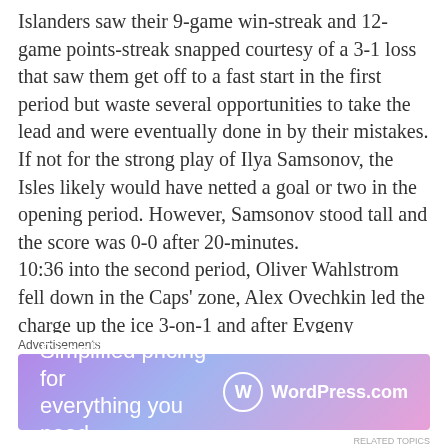Islanders saw their 9-game win-streak and 12-game points-streak snapped courtesy of a 3-1 loss that saw them get off to a fast start in the first period but waste several opportunities to take the lead and were eventually done in by their mistakes. If not for the strong play of Ilya Samsonov, the Isles likely would have netted a goal or two in the opening period. However, Samsonov stood tall and the score was 0-0 after 20-minutes.

10:36 into the second period, Oliver Wahlstrom fell down in the Caps' zone, Alex Ovechkin led the charge up the ice 3-on-1 and after Evgeny Kuznetsov's shot went off
Advertisements
[Figure (other): WordPress.com advertisement banner: 'Simplified pricing for everything you need.' with WordPress.com logo]